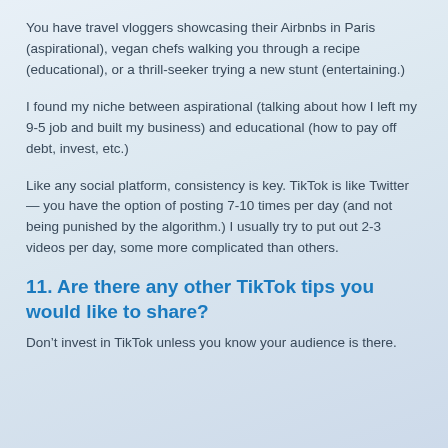You have travel vloggers showcasing their Airbnbs in Paris (aspirational), vegan chefs walking you through a recipe (educational), or a thrill-seeker trying a new stunt (entertaining.)
I found my niche between aspirational (talking about how I left my 9-5 job and built my business) and educational (how to pay off debt, invest, etc.)
Like any social platform, consistency is key. TikTok is like Twitter — you have the option of posting 7-10 times per day (and not being punished by the algorithm.) I usually try to put out 2-3 videos per day, some more complicated than others.
11. Are there any other TikTok tips you would like to share?
Don't invest in TikTok unless you know your audience is there.